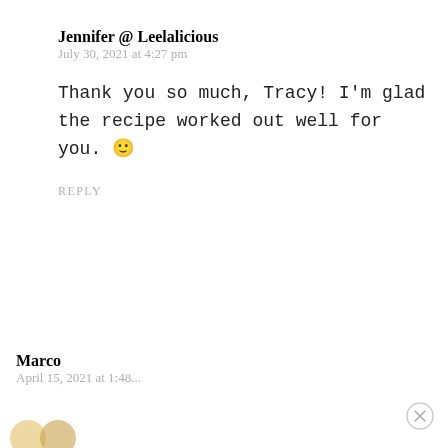Jennifer @ Leelalicious
July 30, 2021 at 4:27 pm
Thank you so much, Tracy! I'm glad the recipe worked out well for you. 🙂
REPLY
Marco
April 15, 2021 at 1:48...